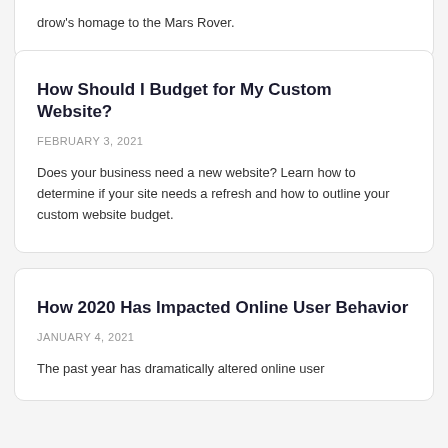drow's homage to the Mars Rover.
How Should I Budget for My Custom Website?
FEBRUARY 3, 2021
Does your business need a new website? Learn how to determine if your site needs a refresh and how to outline your custom website budget.
How 2020 Has Impacted Online User Behavior
JANUARY 4, 2021
The past year has dramatically altered online user